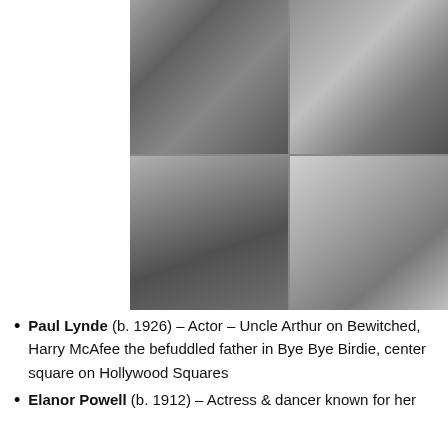[Figure (photo): A 2x2 grid of black and white portrait photos: top-left shows a man in a baseball cap and catcher's gear; top-right shows a heavyset person in a winter hat and coat with something in their mouth; bottom-left shows a handsome man in a suit leaning on a table; bottom-right shows an elegant woman with styled hair looking to the side.]
Paul Lynde (b. 1926) – Actor – Uncle Arthur on Bewitched, Harry McAfee the befuddled father in Bye Bye Birdie, center square on Hollywood Squares
Elanor Powell (b. 1912) – Actress & dancer known for her